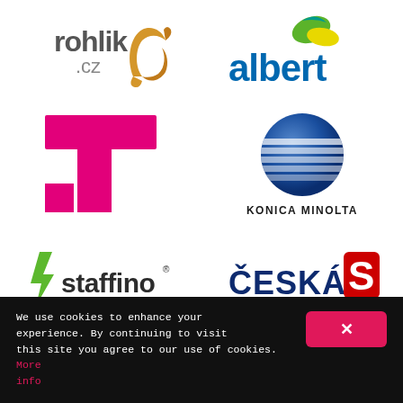[Figure (logo): rohlik.cz logo — grey/black text with a croissant illustration]
[Figure (logo): Albert supermarket logo — blue text 'albert' with green/yellow leaf icon]
[Figure (logo): T-Mobile magenta T logo]
[Figure (logo): Konica Minolta logo — blue sphere with horizontal stripes and 'KONICA MINOLTA' text]
[Figure (logo): Staffino logo — green lightning bolt icon and 'staffino' text with registered mark]
[Figure (logo): Česká spořitelna logo — dark blue 'ČESKÁ' text with red S emblem]
We use cookies to enhance your experience. By continuing to visit this site you agree to our use of cookies. More info